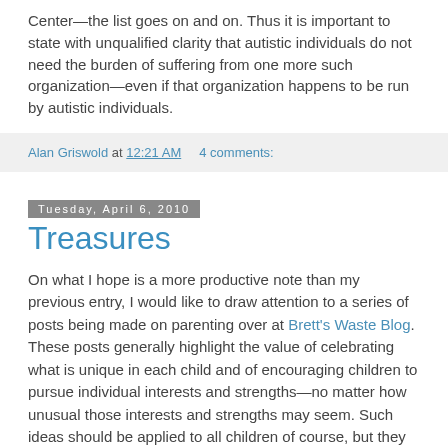Center—the list goes on and on. Thus it is important to state with unqualified clarity that autistic individuals do not need the burden of suffering from one more such organization—even if that organization happens to be run by autistic individuals.
Alan Griswold at 12:21 AM    4 comments:
Tuesday, April 6, 2010
Treasures
On what I hope is a more productive note than my previous entry, I would like to draw attention to a series of posts being made on parenting over at Brett's Waste Blog. These posts generally highlight the value of celebrating what is unique in each child and of encouraging children to pursue individual interests and strengths—no matter how unusual those interests and strengths may seem. Such ideas should be applied to all children of course, but they are particularly important for autistic children, many of whom are not